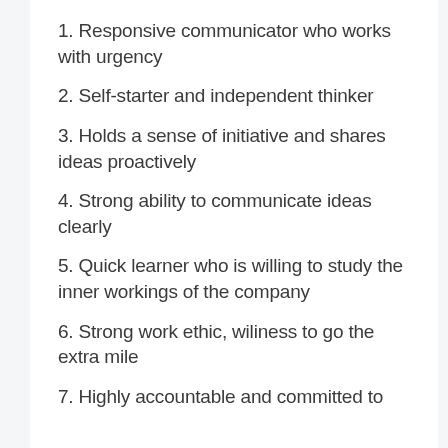1. Responsive communicator who works with urgency
2. Self-starter and independent thinker
3. Holds a sense of initiative and shares ideas proactively
4. Strong ability to communicate ideas clearly
5. Quick learner who is willing to study the inner workings of the company
6. Strong work ethic, wiliness to go the extra mile
7. Highly accountable and committed to